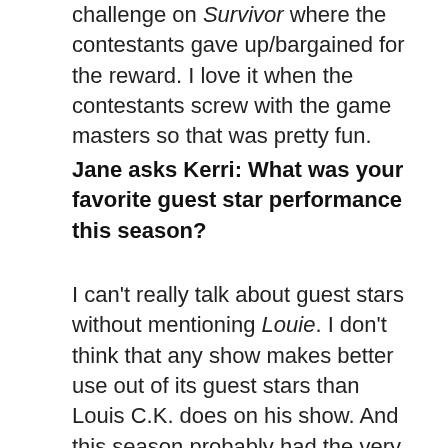challenge on Survivor where the contestants gave up/bargained for the reward. I love it when the contestants screw with the game masters so that was pretty fun.
Jane asks Kerri: What was your favorite guest star performance this season?
I can't really talk about guest stars without mentioning Louie. I don't think that any show makes better use out of its guest stars than Louis C.K. does on his show. And this season probably had the very best line-up of guest stars of maybe any show ever. Parker Posey and David Lynch were my favorites in a season of spectacular guest star